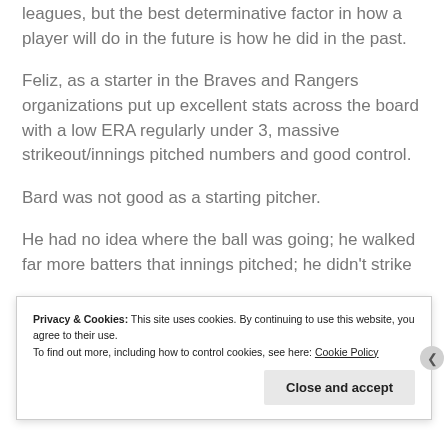leagues, but the best determinative factor in how a player will do in the future is how he did in the past.
Feliz, as a starter in the Braves and Rangers organizations put up excellent stats across the board with a low ERA regularly under 3, massive strikeout/innings pitched numbers and good control.
Bard was not good as a starting pitcher.
He had no idea where the ball was going; he walked far more batters that innings pitched; he didn't strike
Privacy & Cookies: This site uses cookies. By continuing to use this website, you agree to their use. To find out more, including how to control cookies, see here: Cookie Policy